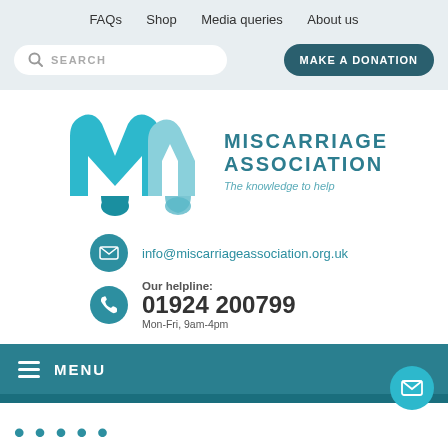FAQs  Shop  Media queries  About us
[Figure (screenshot): Search box and Make a Donation button in header area]
[Figure (logo): Miscarriage Association logo with teal M shape and text: MISCARRIAGE ASSOCIATION The knowledge to help]
info@miscarriageassociation.org.uk
Our helpline:
01924 200799
Mon-Fri, 9am-4pm
MENU
Home › Your feelings › Your stories ›